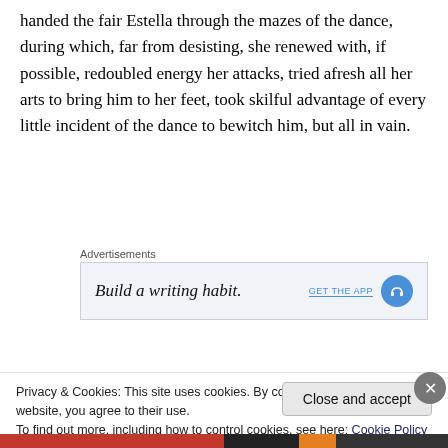handed the fair Estella through the mazes of the dance, during which, far from desisting, she renewed with, if possible, redoubled energy her attacks, tried afresh all her arts to bring him to her feet, took skilful advantage of every little incident of the dance to bewitch him, but all in vain.
Advertisements
[Figure (other): Advertisement banner with text 'Build a writing habit.' and a blue circular icon with headphones, plus a 'GET THE APP' link]
The dance ended, even a country dance, a true Roger de
Privacy & Cookies: This site uses cookies. By continuing to use this website, you agree to their use.
To find out more, including how to control cookies, see here: Cookie Policy
Close and accept